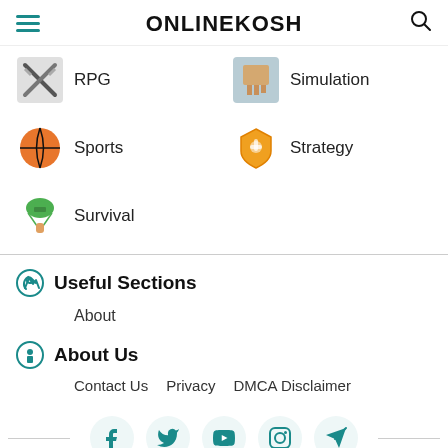ONLINEKOSH
RPG
Simulation
Sports
Strategy
Survival
Useful Sections
About
About Us
Contact Us   Privacy   DMCA Disclaimer
[Figure (other): Social media icons row: Facebook, Twitter, YouTube, Instagram, Telegram]